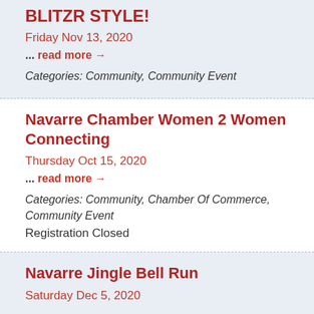BLITZR STYLE!
Friday Nov 13, 2020
... read more →
Categories: Community, Community Event
Navarre Chamber Women 2 Women Connecting
Thursday Oct 15, 2020
... read more →
Categories: Community, Chamber Of Commerce, Community Event
Registration Closed
Navarre Jingle Bell Run
Saturday Dec 5, 2020